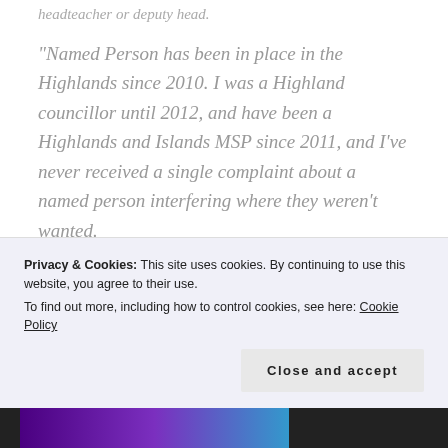headteacher or deputy head.
“Named Person has been in place in the Highlands since 2010. I was a Highland councillor until 2012, and have been a Highlands and Islands MSP since 2011, and I’ve never received a single complaint about a named person interfering where they weren’t wanted.
Privacy & Cookies: This site uses cookies. By continuing to use this website, you agree to their use.
To find out more, including how to control cookies, see here: Cookie Policy
Close and accept